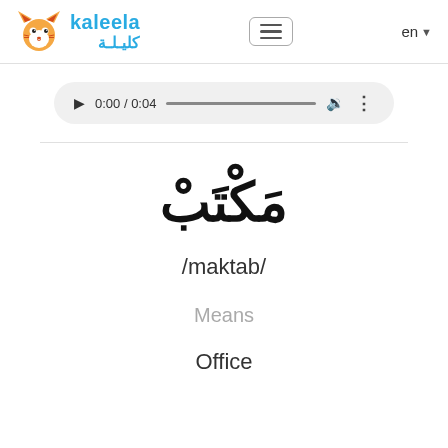kaleela / كليلة — en
[Figure (screenshot): Audio player control showing play button, time 0:00 / 0:04, progress bar, volume icon, and more options icon]
مَكْتَبْ
/maktab/
Means
Office